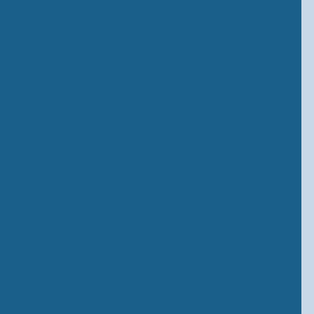(4) In particular and without prejudice to Sections 326 and 475 of the Code of Criminal Procedure, 1973, shall be deemed to refer to a special Judge and for the purposes of the said sections, a special Judge shall be deemed to be a Magistrate.
(5) A special Judge may pass upon any person convicted by him of any offence of which such person is convicted.
(6) A special Judge, while trying an offence punishable under this Act, may also try any offence other than an offence specified in the Schedule, with which the accused may, under the Code of Criminal Procedure, 1973, be charged at the same trial, if the offence is connected with such other offence. All the powers exercisable by a District Judge under the Criminal Law Amendment Act, 1952 shall be exercisable by a special Judge.
6. Power to try summarily .
(1) Where a special Judge tries any offence alleged to have been committed by a public servant punishable under the provisions of Section 12-A of the Essential Commodities Act, 1955 by virtue of the sub-section, then, notwithstanding anything contained in the Code of Criminal Procedure, 1973, the special Judge shall try the offence in accordance with the procedure prescribed for summary trials under Chapter XXI (sections 260 to 265 (both inclusive) of the said Code shall, as far as may be, apply to such trial.
Provided that, in the case of any conviction in a summary trial under this section, it shall be lawful for the special Judge to pass a sentence of imprisonment for a term not exceeding one year.
Provided further that when at the commencement of or in the course of a summary trial under this section it appears to the special Judge that the nature of the case is such that a sentence of imprisonment for a term exceeding one year may have to be passed or that it is, for any other reason undesirable to try the case summarily, the special Judge shall, after hearing the parties, record an order to that effect and thereafter recall any witness who may have been examined and proceed to hear or re-hear the case in accordance with the procedure prescribed by the said Code for the trial of warrant cases by Magistrates.
(2) Notwithstanding anything to the contrary contained in the Code of Criminal Procedure, 1973, there shall be no appeal by a convicted person in any case in which a special Judge passes a sentence of imprisonment not exceeding one month and no fine, or a sentence of fine only, unless, in the case tried summarily, a sentence of imprisonment under Section 452 of the said Code is made, but an appeal shall lie where any sentence in excess of the aforesaid limits is passed by the special Judge.